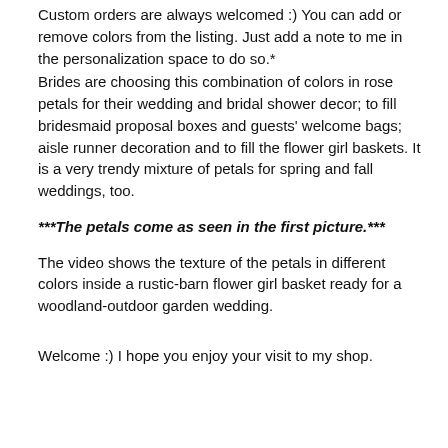Custom orders are always welcomed :) You can add or remove colors from the listing. Just add a note to me in the personalization space to do so.*
Brides are choosing this combination of colors in rose petals for their wedding and bridal shower decor; to fill bridesmaid proposal boxes and guests' welcome bags; aisle runner decoration and to fill the flower girl baskets. It is a very trendy mixture of petals for spring and fall weddings, too.
***The petals come as seen in the first picture.***
The video shows the texture of the petals in different colors inside a rustic-barn flower girl basket ready for a woodland-outdoor garden wedding.
Welcome :) I hope you enjoy your visit to my shop.